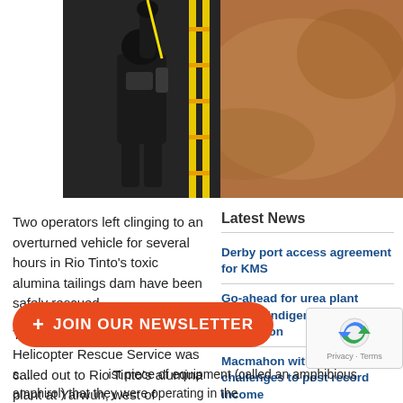[Figure (photo): Photo of a person in dark work gear clinging to or operating equipment, with a reddish-brown mud/tailings dam surface visible in the background.]
Two operators left clinging to an overturned vehicle for several hours in Rio Tinto's toxic alumina tailings dam have been safely rescued.
The RACQ Capricorn Helicopter Rescue Service was called out to Rio Tinto's alumina plant at Yarwun, west of Gladstone, yesterday morning when a machine used to flatten the red mud dam rolled.
Latest News
Derby port access agreement for KMS
Go-ahead for urea plant despite Indigenous opposition
Macmahon withstands challenges to post record income
Strong half helps boost Perenti earnings
+ JOIN OUR NEWSLETTER
st piece of equipment (called an amphibious amphirol) that they were operating in the